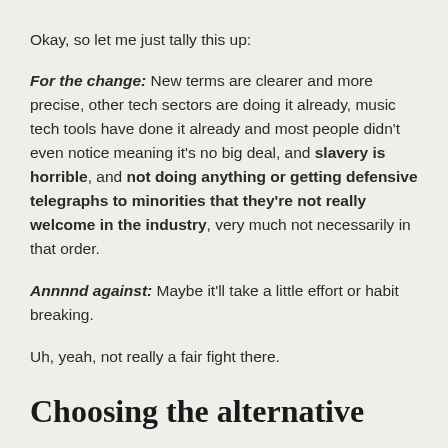Okay, so let me just tally this up:
For the change: New terms are clearer and more precise, other tech sectors are doing it already, music tech tools have done it already and most people didn't even notice meaning it's no big deal, and slavery is horrible, and not doing anything or getting defensive telegraphs to minorities that they're not really welcome in the industry, very much not necessarily in that order.
Annnnd against: Maybe it'll take a little effort or habit breaking.
Uh, yeah, not really a fair fight there.
Choosing the alternative